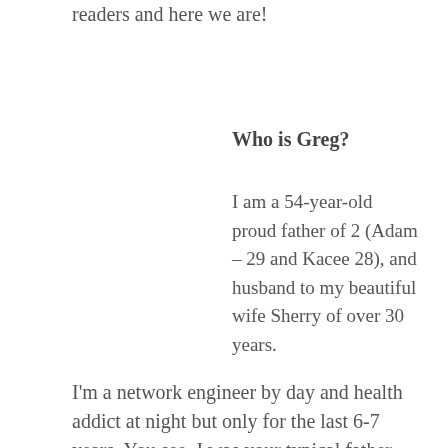readers and here we are!
Who is Greg?
I am a 54-year-old proud father of 2 (Adam – 29 and Kacee 28), and husband to my beautiful wife Sherry of over 30 years.
I'm a network engineer by day and health addict at night but only for the last 6-7 years. You see, I was your typical father busy coaching my son